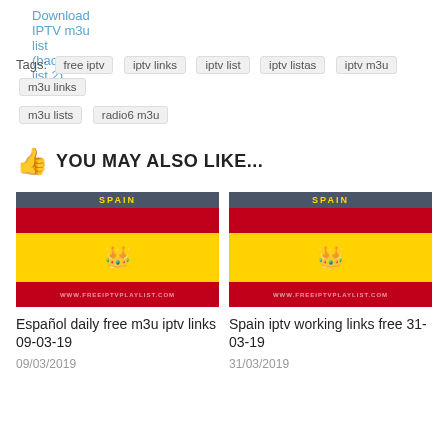Download IPTV m3u list (backup list 2)
Tags: free iptv  iptv links  iptv list  iptv listas  iptv m3u  m3u links  m3u lists  radio6 m3u
YOU MAY ALSO LIKE...
[Figure (photo): Spain flag thumbnail for Español daily free m3u iptv links 09-03-19]
Español daily free m3u iptv links 09-03-19
09/03/2019
[Figure (photo): Spain flag thumbnail for Spain iptv working links free 31-03-19]
Spain iptv working links free 31-03-19
31/03/2019